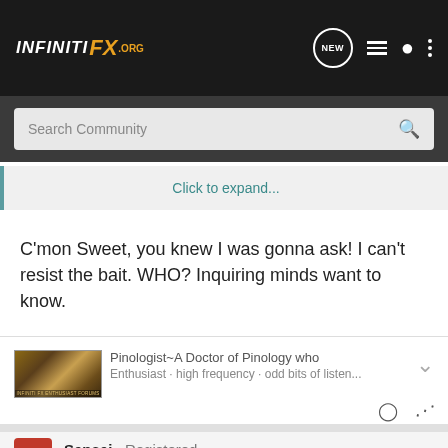InfinitiFX.org — NEW | list | user | menu
Search Community
Click to expand...
C'mon Sweet, you knew I was gonna ask! I can't resist the bait. WHO? Inquiring minds want to know.
[Figure (photo): Forum user banner/avatar image showing a decorative graphic]
Pinologist~A Doctor of Pinology who
Sensei · Registered
Joined Sep 20, 2004 · 361 Posts
#20 · Oct 28, 2004